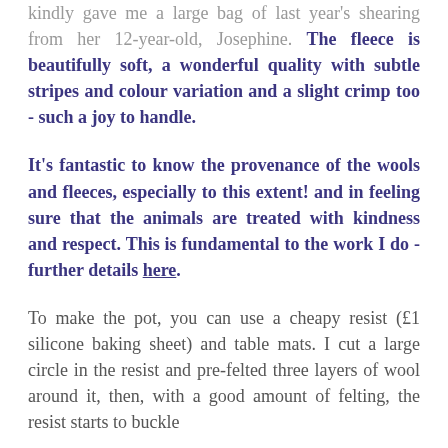kindly gave me a large bag of last year's shearing from her 12-year-old, Josephine. The fleece is beautifully soft, a wonderful quality with subtle stripes and colour variation and a slight crimp too - such a joy to handle.
It's fantastic to know the provenance of the wools and fleeces, especially to this extent! and in feeling sure that the animals are treated with kindness and respect. This is fundamental to the work I do - further details here.
To make the pot, you can use a cheapy resist (£1 silicone baking sheet) and table mats. I cut a large circle in the resist and pre-felted three layers of wool around it, then, with a good amount of felting, the resist starts to buckle